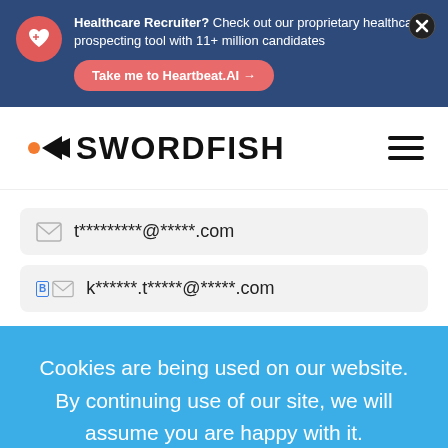Healthcare Recruiter? Check out our proprietary healthcare prospecting tool with 11+ million candidates
Take me to Heartbeat.AI →
[Figure (logo): Swordfish logo with orange arrow and bold SWORDFISH text]
t*********@*****.com
k******.t*****@*****.com
Cookies are being used on our website. By continuing use of our site, we will assume you are happy with it.
Ok